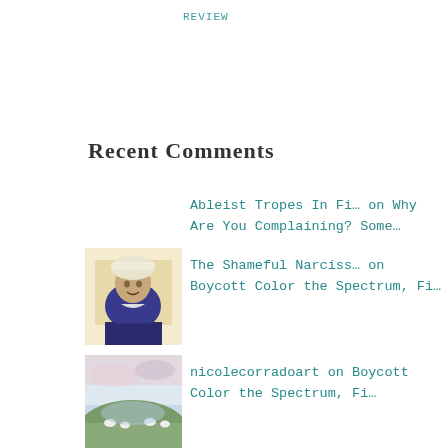Review
Recent Comments
Ableist Tropes In Fi... on Why Are You Complaining? Some...
The Shameful Narciss... on Boycott Color the Spectrum, Fi...
nicolecorradoart on Boycott Color the Spectrum, Fi...
nicolecorradoart on Boycott Color the Spectrum, Fi...
Boycott Color the Sp... on Boycott Color the Spectrum, Fi...